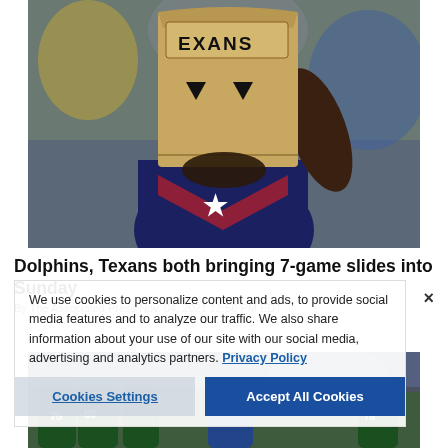[Figure (photo): Houston Texans fan wearing a paper bag over their head with 'EXANS' written on it, wearing a Texans jersey, at a stadium game]
Dolphins, Texans both bringing 7-game slides into Sunday
By The Associated Press Nov. 04, 2021 12:56 PM EDT
We use cookies to personalize content and ads, to provide social media features and to analyze our traffic. We also share information about your use of our site with our social media, advertising and analytics partners. Privacy Policy
[Figure (photo): New York Jets players on the field during an NFL game]